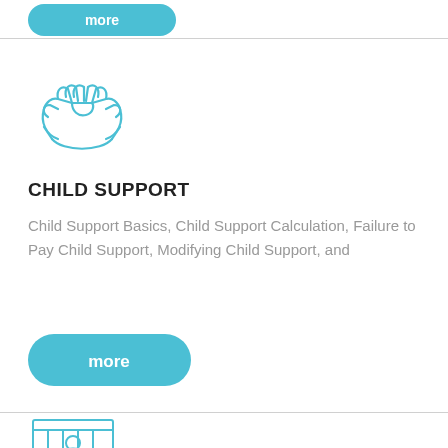[Figure (illustration): Teal outline icon of two hands clasped together (child support / handshake icon)]
CHILD SUPPORT
Child Support Basics, Child Support Calculation, Failure to Pay Child Support, Modifying Child Support, and
[Figure (illustration): Teal 'more' button (rounded rectangle button with white text)]
[Figure (illustration): Teal outline icon of a jail cell with a person behind bars (criminal law icon)]